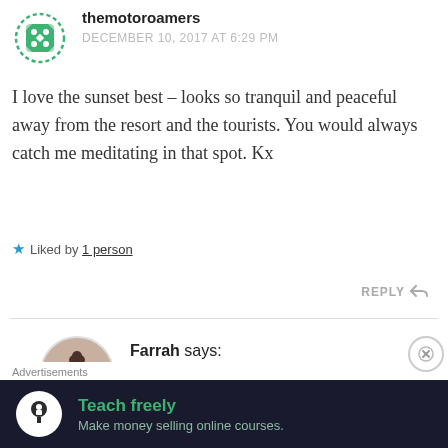themotoroamers says: DECEMBER 10, 2017 AT 6:29 PM
I love the sunset best – looks so tranquil and peaceful away from the resort and the tourists. You would always catch me meditating in that spot. Kx
★ Liked by 1 person
REPLY
Farrah says: DECEMBER 11, 2017 AT 7:09 AM
[Figure (illustration): Advertisement banner: dark background with tree/person logo, 'Teach freely' in green, 'Make money selling online courses.' in muted green]